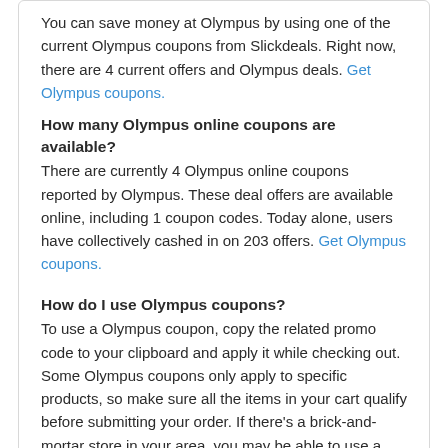You can save money at Olympus by using one of the current Olympus coupons from Slickdeals. Right now, there are 4 current offers and Olympus deals. Get Olympus coupons.
How many Olympus online coupons are available?
There are currently 4 Olympus online coupons reported by Olympus. These deal offers are available online, including 1 coupon codes. Today alone, users have collectively cashed in on 203 offers. Get Olympus coupons.
How do I use Olympus coupons?
To use a Olympus coupon, copy the related promo code to your clipboard and apply it while checking out. Some Olympus coupons only apply to specific products, so make sure all the items in your cart qualify before submitting your order. If there's a brick-and-mortar store in your area, you may be able to use a printable coupon there as well. Get Olympus coupons.
Trending Stores